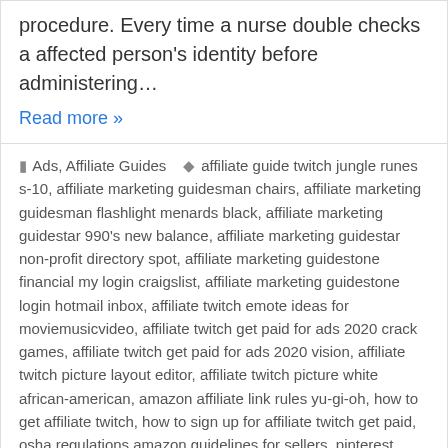procedure. Every time a nurse double checks a affected person's identity before administering…
Read more »
Ads, Affiliate Guides
affiliate guide twitch jungle runes s-10, affiliate marketing guidesman chairs, affiliate marketing guidesman flashlight menards black, affiliate marketing guidestar 990's new balance, affiliate marketing guidestar non-profit directory spot, affiliate marketing guidestone financial my login craigslist, affiliate marketing guidestone login hotmail inbox, affiliate twitch emote ideas for moviemusicvideo, affiliate twitch get paid for ads 2020 crack games, affiliate twitch get paid for ads 2020 vision, affiliate twitch picture layout editor, affiliate twitch picture white african-american, amazon affiliate link rules yu-gi-oh, how to get affiliate twitch, how to sign up for affiliate twitch get paid, osha regulations amazon guidelines for sellers, pinterest affiliate marketing